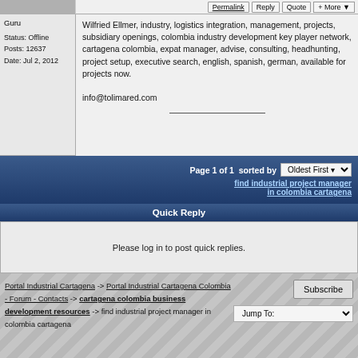Permalink | Reply | Quote | More
Guru
Status: Offline
Posts: 12637
Date: Jul 2, 2012
Wilfried Ellmer, industry, logistics integration, management, projects, subsidiary openings, colombia industry development key player network, cartagena colombia, expat manager, advise, consulting, headhunting, project setup, executive search, english, spanish, german, available for projects now.

info@tolimared.com
Page 1 of 1  sorted by  Oldest First
find industrial project manager in colombia cartagena
Quick Reply
Please log in to post quick replies.
Portal Industrial Cartagena -> Portal Industrial Cartagena Colombia - Forum - Contacts -> cartagena colombia business development resources -> find industrial project manager in colombia cartagena
Subscribe
Jump To: